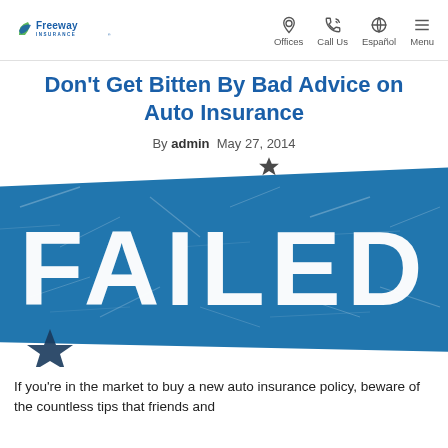Freeway Insurance — Offices | Call Us | Español | Menu
Don't Get Bitten By Bad Advice on Auto Insurance
By admin  May 27, 2014
[Figure (photo): Close-up photo of a distressed blue stamp graphic with large white letters spelling 'FAILED' on a diagonal banner]
If you're in the market to buy a new auto insurance policy, beware of the countless tips that friends and